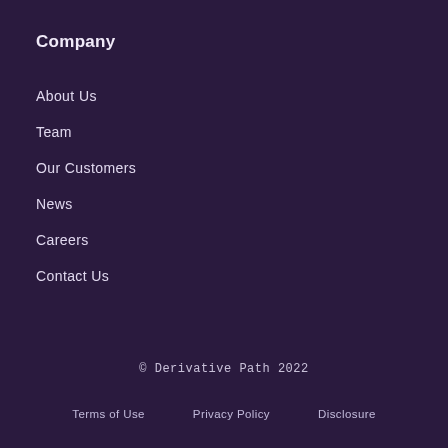Company
About Us
Team
Our Customers
News
Careers
Contact Us
© Derivative Path 2022
Terms of Use   Privacy Policy   Disclosure